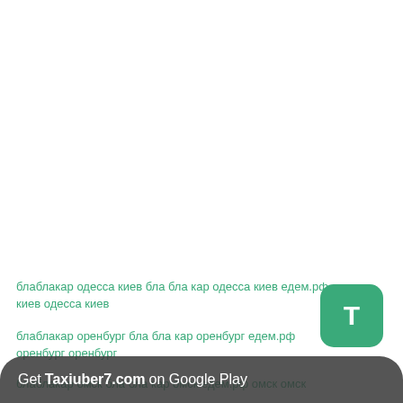блаблакар одесса киев бла бла кар одесса киев едем.рф одесса киев одесса киев
блаблакар оренбург бла бла кар оренбург едем.рф оренбург оренбург
блаблакар омск бла бла кар омск едем.рф омск омск
[Figure (logo): Green rounded square icon with letter T]
Get Taxiuber7.com on Google Play